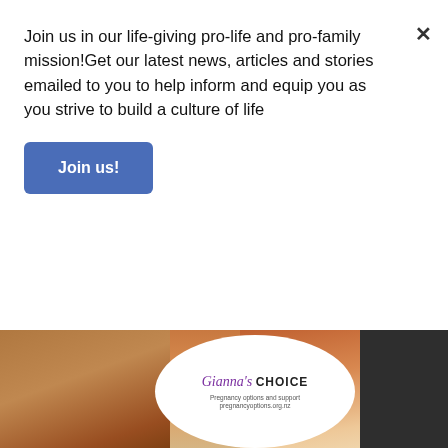Join us in our life-giving pro-life and pro-family mission!Get our latest news, articles and stories emailed to you to help inform and equip you as you strive to build a culture of life
Join us!
[Figure (photo): Banner advertisement for Gianna's Choice - Pregnancy options and support, pregnancyoptions.org.nz, showing a woman in background with white oval logo overlay]
CONTACT US
P O Box 27967, Mt Roskill
Auckland 1440
New Zealand
Saint John Paul II Centre for Life
569 Richardson Road